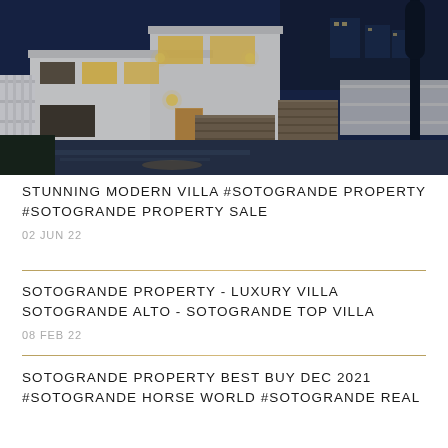[Figure (photo): Night-time exterior photo of a modern white villa with warm yellow lighting, stone walls, white fence/gate, dark paved driveway, hills visible in background]
STUNNING MODERN VILLA #SOTOGRANDE PROPERTY #SOTOGRANDE PROPERTY SALE
02 JUN 22
SOTOGRANDE PROPERTY - LUXURY VILLA SOTOGRANDE ALTO - SOTOGRANDE TOP VILLA
08 FEB 22
SOTOGRANDE PROPERTY BEST BUY DEC 2021 #SOTOGRANDE HORSE WORLD #SOTOGRANDE REAL